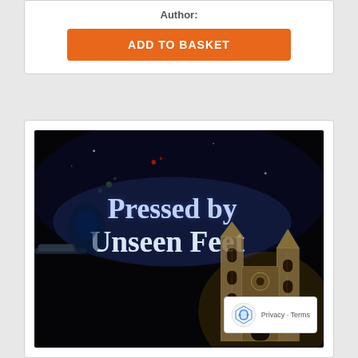Author:
ADD TO BASKET
[Figure (photo): Book cover image with dark/black background showing gothic-style text reading 'Pressed by Unseen Feet' with a glowing white/blue effect, and a detailed gothic cathedral building in gold/silver tones in the lower right portion of the image.]